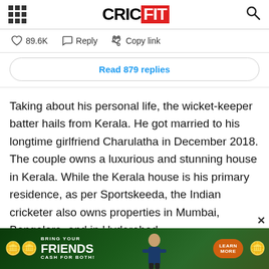CRICFIT
89.6K  Reply  Copy link
Read 879 replies
Taking about his personal life, the wicket-keeper batter hails from Kerala. He got married to his longtime girlfriend Charulatha in December 2018. The couple owns a luxurious and stunning house in Kerala. While the Kerala house is his primary residence, as per Sportskeeda, the Indian cricketer also owns properties in Mumbai, Bangalore, and in Hyderabad.
[Figure (screenshot): Advertisement banner: BRING YOUR FRIENDS CASH FOR BOTH with a cricket player and gold coins, green background, orange LEARN MORE button]